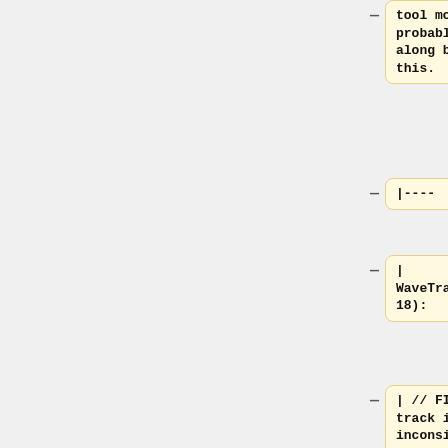tool mode probably don't get along because of this.
|----
| WaveTrack.cpp(2118):
| // FIX-ME: The track is now in an inconsistent state...
| Looks serious, if using multiple sample rates.
|----
| effects\NoiseRemoval.cpp(193):
| // FIX-ME: Should